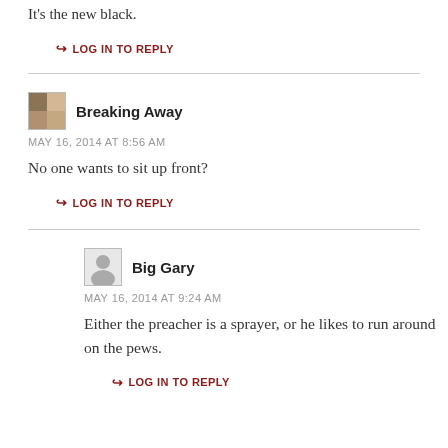It's the new black.
➥ LOG IN TO REPLY
Breaking Away
MAY 16, 2014 AT 8:56 AM
No one wants to sit up front?
➥ LOG IN TO REPLY
Big Gary
MAY 16, 2014 AT 9:24 AM
Either the preacher is a sprayer, or he likes to run around on the pews.
➥ LOG IN TO REPLY